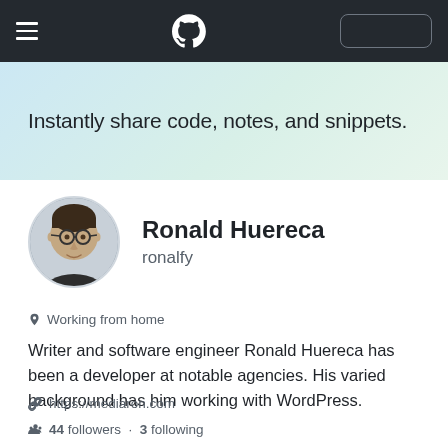GitHub navigation bar with hamburger menu, GitHub logo, and sign-in button
Instantly share code, notes, and snippets.
[Figure (photo): Circular avatar photo of Ronald Huereca, a man with glasses and dark hair wearing a dark shirt]
Ronald Huereca
ronalfy
Working from home
Writer and software engineer Ronald Huereca has been a developer at notable agencies. His varied background has him working with WordPress.
https://mediaron.com
44 followers · 3 following